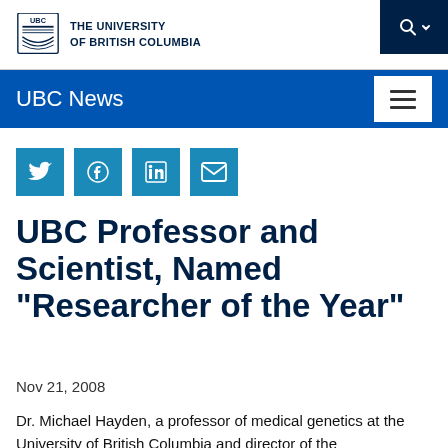THE UNIVERSITY OF BRITISH COLUMBIA
UBC News
[Figure (infographic): Social media share buttons: Twitter, Facebook, LinkedIn, Email]
UBC Professor and Scientist, Named “Researcher of the Year”
Nov 21, 2008
Dr. Michael Hayden, a professor of medical genetics at the University of British Columbia and director of the